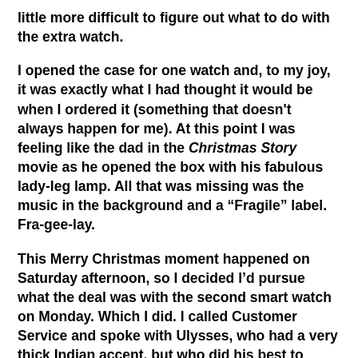little more difficult to figure out what to do with the extra watch.
I opened the case for one watch and, to my joy, it was exactly what I had thought it would be when I ordered it (something that doesn't always happen for me).  At this point I was feeling like the dad in the Christmas Story movie as he opened the box with his fabulous lady-leg lamp.  All that was missing was the music in the background and a "Fragile" label.  Fra-gee-lay.
This Merry Christmas moment happened on Saturday afternoon, so  I decided I'd pursue what the deal was with the second smart watch on Monday.  Which I did.  I called Customer Service and spoke with Ulysses, who had a very thick Indian accent, but who did his best to satisfy my request to figure out what was up with getting two